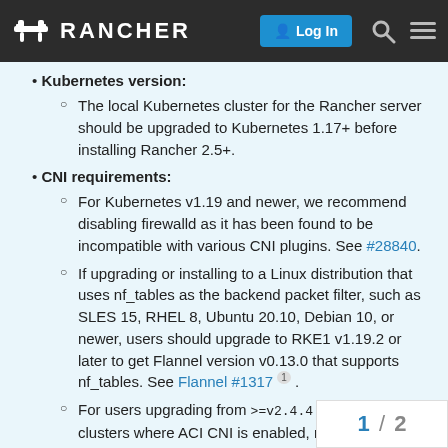RANCHER — Log In
Kubernetes version:
The local Kubernetes cluster for the Rancher server should be upgraded to Kubernetes 1.17+ before installing Rancher 2.5+.
CNI requirements:
For Kubernetes v1.19 and newer, we recommend disabling firewalld as it has been found to be incompatible with various CNI plugins. See #28840.
If upgrading or installing to a Linux distribution that uses nf_tables as the backend packet filter, such as SLES 15, RHEL 8, Ubuntu 20.10, Debian 10, or newer, users should upgrade to RKE1 v1.19.2 or later to get Flannel version v0.13.0 that supports nf_tables. See Flannel #1317 1 .
For users upgrading from >=v2.4.4 to v2.5.x with clusters where ACI CNI is enabled, note that upgrading Rancher will result in automatic cluster reconciliation. This is applicable for Kubernetes v... rancher1-1, v1.17.17-ranch